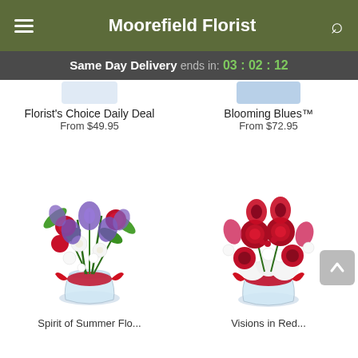Moorefield Florist
Same Day Delivery ends in: 03 : 02 : 12
Florist's Choice Daily Deal
From $49.95
Blooming Blues™
From $72.95
[Figure (photo): Floral arrangement in a clear glass vase with red ribbon — red carnations, purple irises, and white flowers with greenery]
[Figure (photo): Floral arrangement in a clear glass vase with red ribbon — red roses, red gerberas, red anemones, and white hydrangeas]
Spirit of Summer Flo...
Visions in Red...